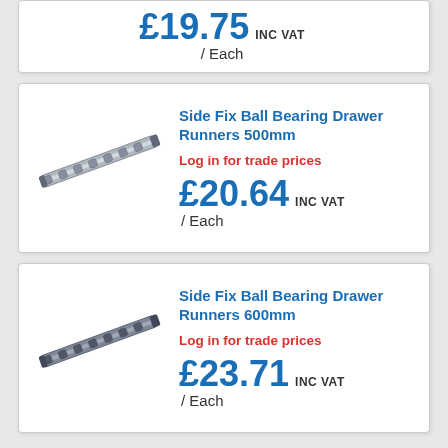£19.75 INC VAT / Each
Side Fix Ball Bearing Drawer Runners 500mm
Log in for trade prices
£20.64 INC VAT / Each
Side Fix Ball Bearing Drawer Runners 600mm
Log in for trade prices
£23.71 INC VAT / Each